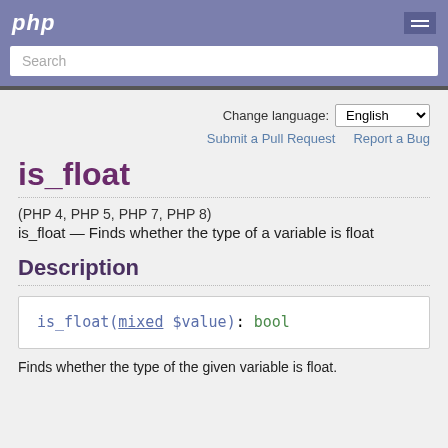php
Search
Change language: English
Submit a Pull Request   Report a Bug
is_float
(PHP 4, PHP 5, PHP 7, PHP 8)
is_float — Finds whether the type of a variable is float
Description
Finds whether the type of the given variable is float.